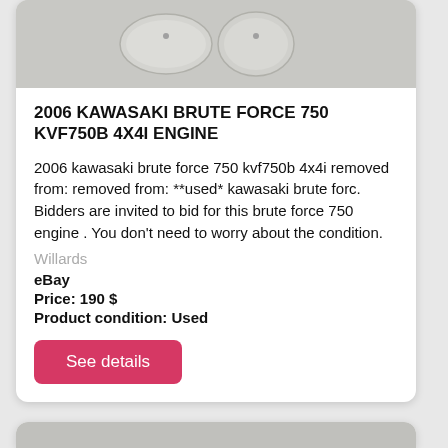[Figure (photo): Two silver/chrome oval engine parts (valve covers or similar) photographed on a light surface]
2006 KAWASAKI BRUTE FORCE 750 KVF750B 4X4I ENGINE
2006 kawasaki brute force 750 kvf750b 4x4i removed from: removed from: **used* kawasaki brute forc. Bidders are invited to bid for this brute force 750 engine . You don't need to worry about the condition.
Willards
eBay
Price: 190 $
Product condition: Used
See details
[Figure (photo): Partial view of another product image at bottom of page]